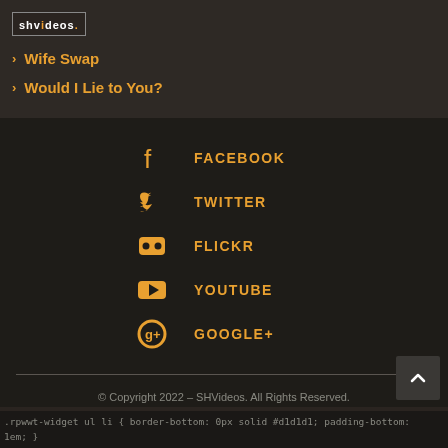[Figure (logo): SHVideos logo with border box]
> Wife Swap
> Would I Lie to You?
FACEBOOK
TWITTER
FLICKR
YOUTUBE
GOOGLE+
© Copyright 2022 – SHVideos. All Rights Reserved.
.rpwwt-widget ul li { border-bottom: 0px solid #d1d1d1; padding-bottom: 1em; }